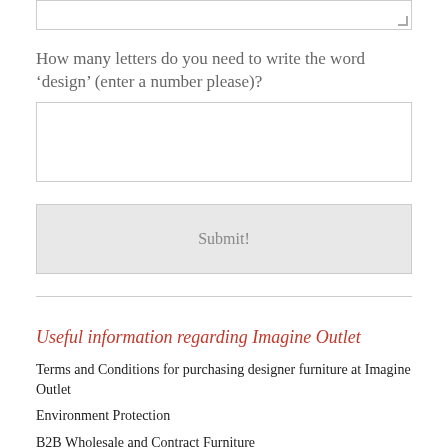How many letters do you need to write the word ‘design’ (enter a number please)?
Submit!
Useful information regarding Imagine Outlet
Terms and Conditions for purchasing designer furniture at Imagine Outlet
Environment Protection
B2B Wholesale and Contract Furniture